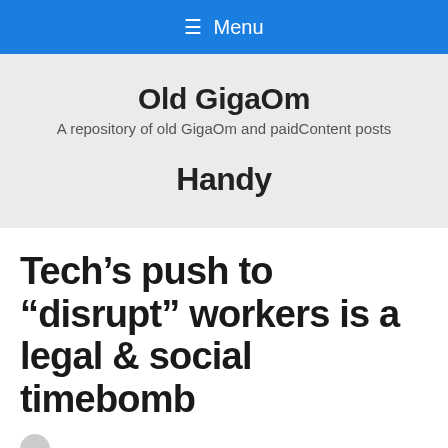≡ Menu
Old GigaOm
A repository of old GigaOm and paidContent posts
Handy
Tech's push to “disrupt” workers is a legal & social timebomb